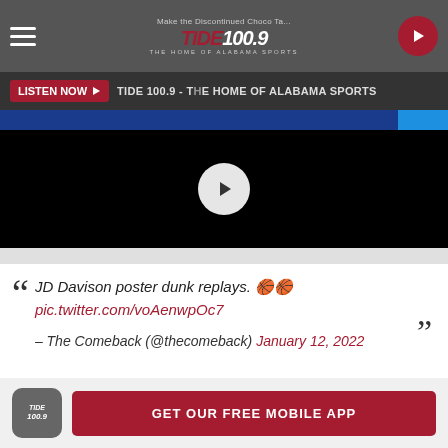[Figure (screenshot): Tide 100.9 radio station mobile app header with logo, hamburger menu, and play button]
Make the Discontinued Choco Ta...
LISTEN NOW ▶  TIDE 100.9 - THE HOME OF ALABAMA SPORTS
[Figure (screenshot): Video player with black screen and white play button overlay, blue accent bars]
JD Davison poster dunk replays. 🏀🏀
pic.twitter.com/voAenwpOc7
– The Comeback (@thecomeback) January 12, 2022
GET OUR FREE MOBILE APP